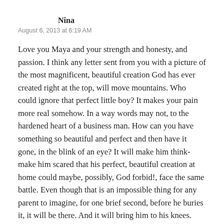Nina
August 6, 2013 at 6:19 AM
Love you Maya and your strength and honesty, and passion. I think any letter sent from you with a picture of the most magnificent, beautiful creation God has ever created right at the top, will move mountains. Who could ignore that perfect little boy? It makes your pain more real somehow. In a way words may not, to the hardened heart of a business man. How can you have something so beautiful and perfect and then have it gone, in the blink of an eye? It will make him think-make him scared that his perfect, beautiful creation at home could maybe, possibly, God forbid!, face the same battle. Even though that is an impossible thing for any parent to imagine, for one brief second, before he buries it, it will be there. And it will bring him to his knees. And he will share it